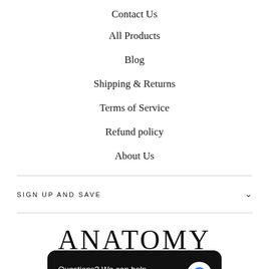Contact Us
All Products
Blog
Shipping & Returns
Terms of Service
Refund policy
About Us
SIGN UP AND SAVE
[Figure (logo): ANATOMY store logo with text HISTORIC DOWNTOWN BRENHAM below]
Questions? We can help. Chat with us now.
HISTORIC DOWNTOWN BRENHAM